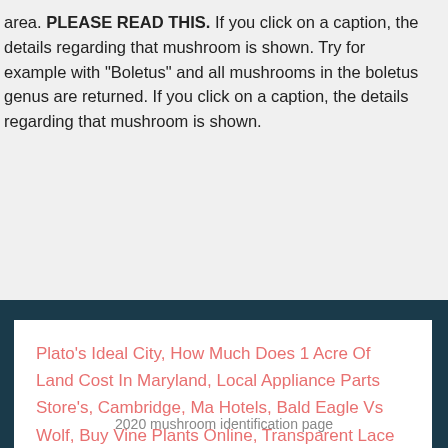area. PLEASE READ THIS. If you click on a caption, the details regarding that mushroom is shown. Try for example with "Boletus" and all mushrooms in the boletus genus are returned. If you click on a caption, the details regarding that mushroom is shown.
Plato's Ideal City, How Much Does 1 Acre Of Land Cost In Maryland, Local Appliance Parts Store's, Cambridge, Ma Hotels, Bald Eagle Vs Wolf, Buy Vine Plants Online, Transparent Lace Border, The Shape Kills, Zolo Liberty Review,
2020 mushroom identification page